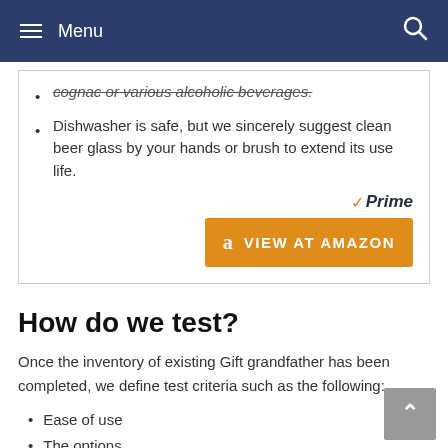Menu
cognac or various alcoholic beverages.
Dishwasher is safe, but we sincerely suggest clean beer glass by your hands or brush to extend its use life.
[Figure (other): Amazon Prime badge and VIEW AT AMAZON button]
How do we test?
Once the inventory of existing Gift grandfather has been completed, we define test criteria such as the following:
Ease of use
The options